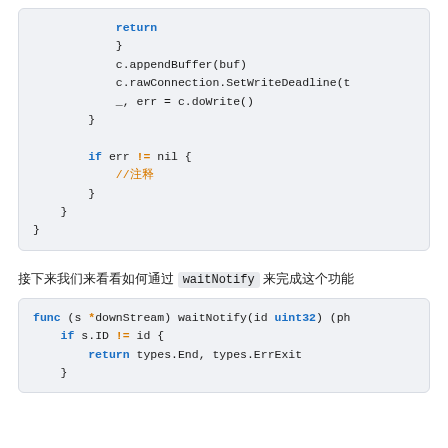(code block showing return, c.appendBuffer(buf), c.rawConnection.SetWriteDeadline, _, err = c.doWrite(), and if err != nil block with //注释)
接下来我们来看看如何通过 waitNotify 来完成这个功能
(code block showing func (s *downStream) waitNotify(id uint32) (ph..., if s.ID != id {, return types.End, types.ErrExit, })